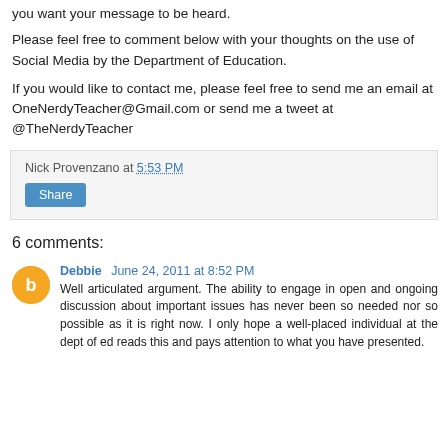you want your message to be heard.
Please feel free to comment below with your thoughts on the use of Social Media by the Department of Education.
If you would like to contact me, please feel free to send me an email at OneNerdyTeacher@Gmail.com or send me a tweet at @TheNerdyTeacher
Nick Provenzano at 5:53 PM
Share
6 comments:
Debbie June 24, 2011 at 8:52 PM
Well articulated argument. The ability to engage in open and ongoing discussion about important issues has never been so needed nor so possible as it is right now. I only hope a well-placed individual at the dept of ed reads this and pays attention to what you have presented.